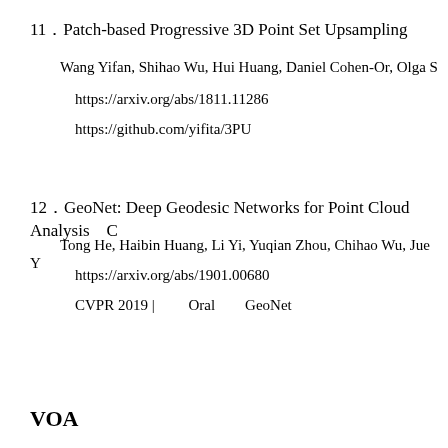11．Patch-based Progressive 3D Point Set Upsampling
Wang Yifan, Shihao Wu, Hui Huang, Daniel Cohen-Or, Olga S
https://arxiv.org/abs/1811.11286
https://github.com/yifita/3PU
12．GeoNet: Deep Geodesic Networks for Point Cloud Analysis　C
Tong He, Haibin Huang, Li Yi, Yuqian Zhou, Chihao Wu, Jue Y
https://arxiv.org/abs/1901.00680
CVPR 2019 | 　　Oral　　GeoNet
VOA